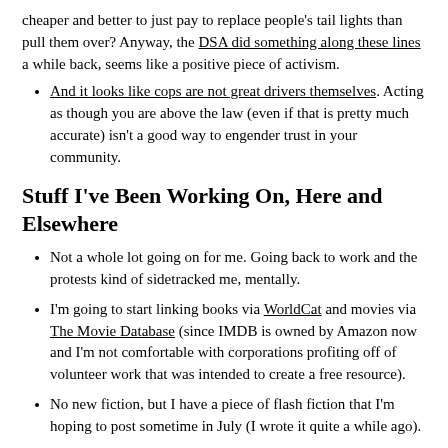cheaper and better to just pay to replace people's tail lights than pull them over? Anyway, the DSA did something along these lines a while back, seems like a positive piece of activism.
And it looks like cops are not great drivers themselves. Acting as though you are above the law (even if that is pretty much accurate) isn't a good way to engender trust in your community.
Stuff I've Been Working On, Here and Elsewhere
Not a whole lot going on for me. Going back to work and the protests kind of sidetracked me, mentally.
I'm going to start linking books via WorldCat and movies via The Movie Database (since IMDB is owned by Amazon now and I'm not comfortable with corporations profiting off of volunteer work that was intended to create a free resource).
No new fiction, but I have a piece of flash fiction that I'm hoping to post sometime in July (I wrote it quite a while ago).